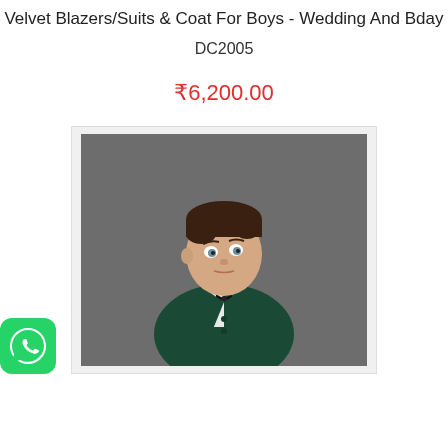Velvet Blazers/Suits & Coat For Boys - Wedding And Bday
DC2005
₹6,200.00
[Figure (photo): A baby boy wearing a dark green velvet blazer/suit with a bow tie, photographed against a grey background.]